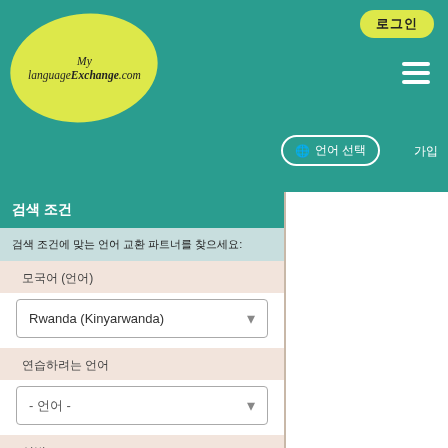[Figure (logo): MyLanguageExchange.com logo in yellow oval on teal header]
로그인 | ☰ | 🌐 언어 선택 | 가입
검색 조건
검색 조건에 맞는 언어 교환 파트너를 찾으세요:
모국어 (언어)
Rwanda (Kinyarwanda)
연습하려는 언어
- 언어 -
성별
- 성별 -
도시
도시: 도시 이름 입력, 검색 결과에 주변지역 및 도시도 포함됩니다.예 도시, Montreal 은 Montréal과 동일하게 처리될 수 있습니다.